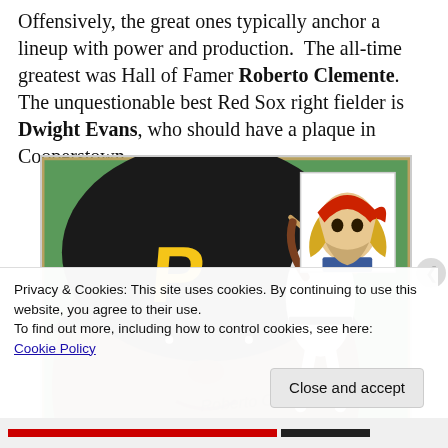Offensively, the great ones typically anchor a lineup with power and production. The all-time greatest was Hall of Famer Roberto Clemente. The unquestionable best Red Sox right fielder is Dwight Evans, who should have a plaque in Cooperstown.
[Figure (illustration): Vintage baseball card illustration of Roberto Clemente in Pittsburgh Pirates uniform with black cap with yellow P, close-up face in foreground, full batting pose in background on green field, and Pittsburgh Pirates pirate logo in upper right corner.]
Privacy & Cookies: This site uses cookies. By continuing to use this website, you agree to their use.
To find out more, including how to control cookies, see here:
Cookie Policy